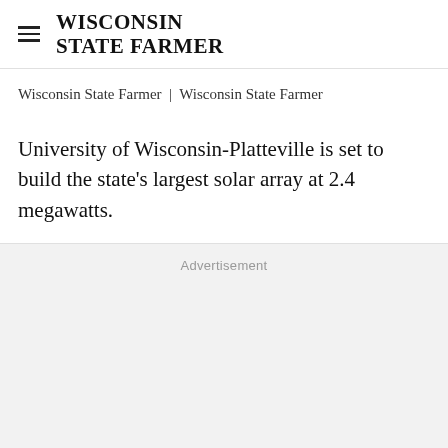WISCONSIN STATE FARMER
Wisconsin State Farmer | Wisconsin State Farmer
University of Wisconsin-Platteville is set to build the state's largest solar array at 2.4 megawatts.
Advertisement